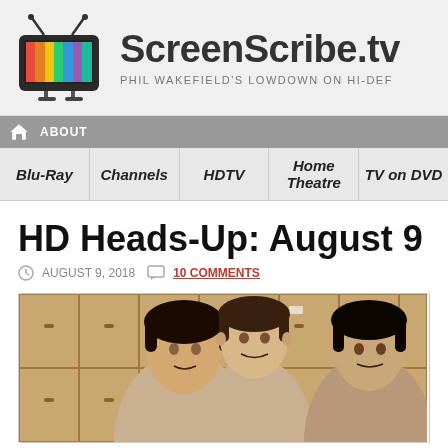[Figure (logo): ScreenScribe.tv website logo with a colorful TV icon and site title 'ScreenScribe.tv' and subtitle 'PHIL WAKEFIELD'S LOWDOWN ON HI-DEF']
ABOUT
Blu-Ray | Channels | HDTV | Home Theatre | TV on DVD
HD Heads-Up: August 9 UP
AUGUST 9, 2018   10 COMMENTS
[Figure (photo): Black and white photo of three young men standing in front of school lockers]